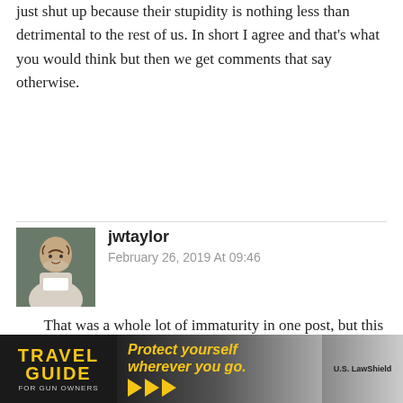just shut up because their stupidity is nothing less than detrimental to the rest of us. In short I agree and that's what you would think but then we get comments that say otherwise.
jwtaylor
February 26, 2019 At 09:46
That was a whole lot of immaturity in one post, but this part stands out:
" there is no reason why you can't wait a few days, or be inconveniant a little to allow the systems to work to prevent people who can't have guns out in society with them."

Really? No reason? Google Carol Bowne. She ... boyfriend, who ..., WHILE
[Figure (photo): Advertisement banner at the bottom: Travel Guide for Gun Owners with text 'Protect yourself wherever you go.' and US LawShield branding]